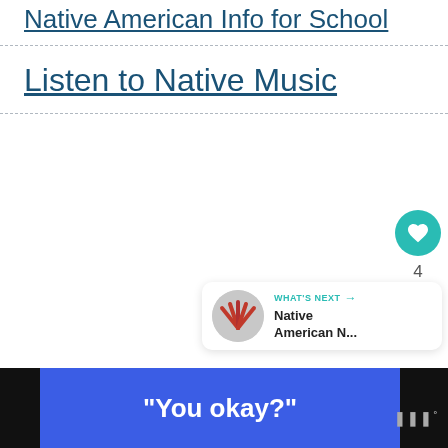Native American Info for School
Listen to Native Music
[Figure (infographic): UI sidebar with heart/like button (teal circle with heart icon), like count '4', and a share button (light circle with share icon)]
[Figure (infographic): What's Next panel showing thumbnail with red feather/arrow graphic and text 'Native American N...']
[Figure (infographic): Bottom bar with blue banner containing text '"You okay?"' and a logo 'ww°' on dark background]